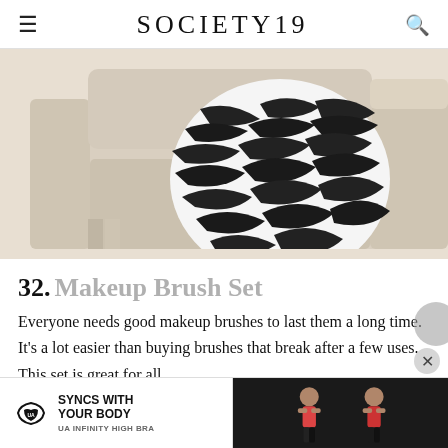SOCIETY19
[Figure (photo): A cream/beige sofa with a zebra-print black and white blanket or throw draped over it, placed against the arm of the couch.]
32. Makeup Brush Set
Everyone needs good makeup brushes to last them a long time. It's a lot easier than buying brushes that break after a few uses. This set is great for all
[Figure (infographic): Under Armour advertisement banner: 'SYNCS WITH YOUR BODY — UA INFINITY HIGH BRA' with Under Armour logo on the left and a fitness model photo on the right.]